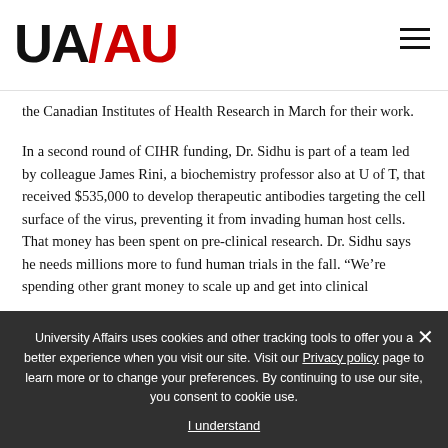[Figure (logo): UA/AU University Affairs logo with black UA and red slash and AU text]
the Canadian Institutes of Health Research in March for their work.
In a second round of CIHR funding, Dr. Sidhu is part of a team led by colleague James Rini, a biochemistry professor also at U of T, that received $535,000 to develop therapeutic antibodies targeting the cell surface of the virus, preventing it from invading human host cells. That money has been spent on pre-clinical research. Dr. Sidhu says he needs millions more to fund human trials in the fall. “We’re spending other grant money to scale up and get into clinical
trials, but we’ll need more money to truly run the trials... His [research]... [text obscured by cookie overlay]... all not one. It’s happening. A British-Italian government has offered him several million... [text obscured]... But they We’re not so concerned [about…]
University Affairs uses cookies and other tracking tools to offer you a better experience when you visit our site. Visit our Privacy policy page to learn more or to change your preferences. By continuing to use our site, you consent to cookie use.